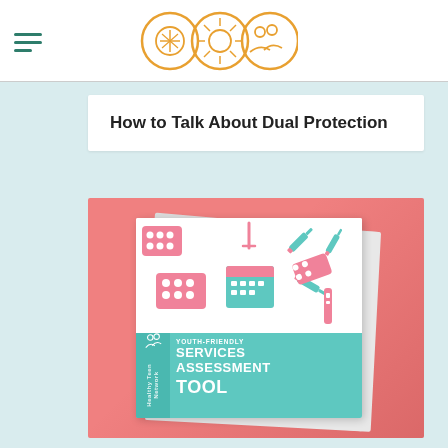[Figure (logo): Three circular icons in orange outline style: a hand, a sun/wheel, and a group of people]
How to Talk About Dual Protection
[Figure (illustration): Pink background card with a booklet cover showing 'Youth-Friendly Services Assessment Tool' in teal and white, decorated with contraceptive method icons (IUD, syringes, pill packs, calendar). Stacked pages effect with drop shadow.]